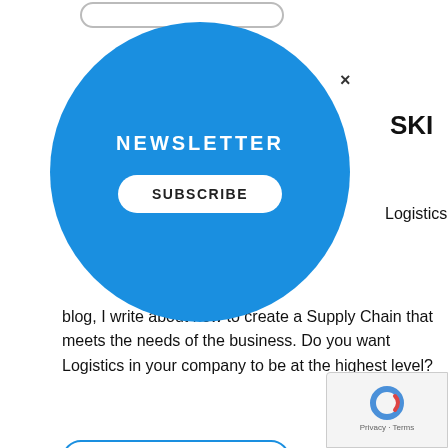[Figure (screenshot): Blue circular newsletter popup with NEWSLETTER text and SUBSCRIBE button, with X close button]
SKI
Logistics both by profession and true
blog, I write about how to create a Supply Chain that meets the needs of the business. Do you want Logistics in your company to be at the highest level?
CONTINUE READING...
NEWSLETTER
Sign up for the newsletter. Always stay up to date with what I am doing.
Email *